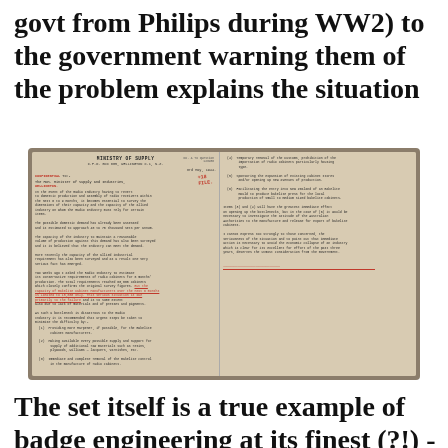govt from Philips during WW2) to the government warning them of the problem explains the situation
[Figure (photo): Photograph of a two-page Ministry of Supply letter dated 3rd May 1944, typed on official letterhead, with handwritten red annotations including '+18 FILE' stamp, red underlined passages, and a red signature at the bottom of the right page. The letter discusses radio industry capacity and bakelite moulding supply issues.]
The set itself is a true example of badge engineering at its finest (?!) - examples have